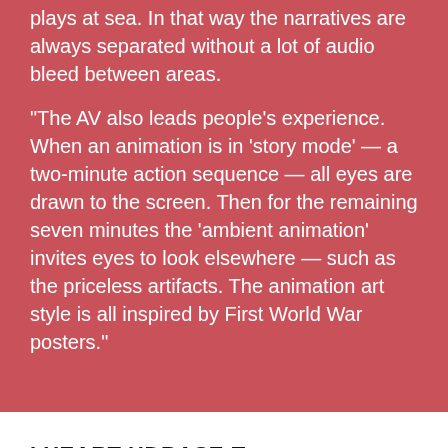plays at sea. In that way the narratives are always separated without a lot of audio bleed between areas.
“The AV also leads people’s experience. When an animation is in ‘story mode’ — a two-minute action sequence — all eyes are drawn to the screen. Then for the remaining seven minutes the ‘ambient animation’ invites eyes to look elsewhere — such as the priceless artifacts. The animation art style is all inspired by First World War posters.”
I HEART HDBASE-T
Ki McGinity: “Most of what you see here is done over HDBaseT, which has been a great technology for us. I really love it.